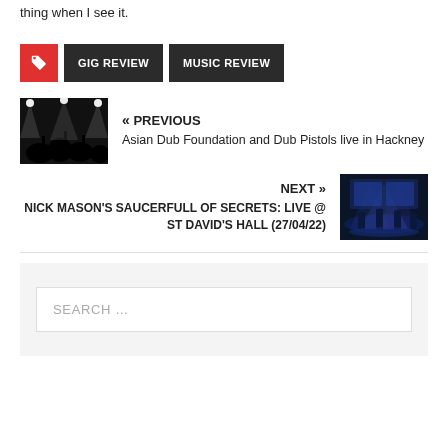thing when I see it.
GIG REVIEW
MUSIC REVIEW
« PREVIOUS
Asian Dub Foundation and Dub Pistols live in Hackney
NEXT »
NICK MASON'S SAUCERFULL OF SECRETS: Live @ St David's Hall (27/04/22)
SEARCH …